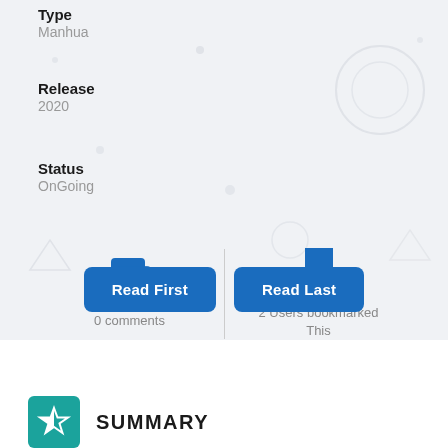Type
Manhua
Release
2020
Status
OnGoing
[Figure (infographic): Two stat icons: comment bubble showing 0 comments, and bookmark icon showing 2 Users bookmarked This, separated by a vertical divider]
Read First
Read Last
SUMMARY